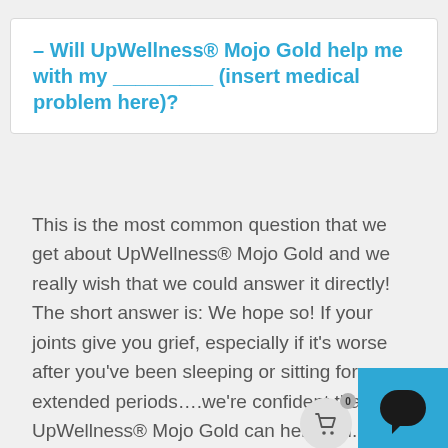– Will UpWellness® Mojo Gold help me with my _________ (insert medical problem here)?
This is the most common question that we get about UpWellness® Mojo Gold and we really wish that we could answer it directly! The short answer is: We hope so! If your joints give you grief, especially if it's worse after you've been sleeping or sitting for extended periods….we're confident that UpWellness® Mojo Gold can help you. If you notice that you have more discomfort or pain when you are